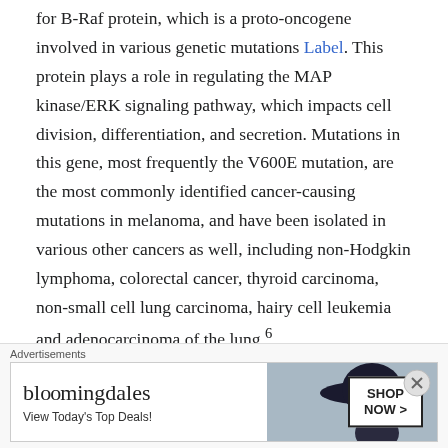for B-Raf protein, which is a proto-oncogene involved in various genetic mutations [Label]. This protein plays a role in regulating the MAP kinase/ERK signaling pathway, which impacts cell division, differentiation, and secretion. Mutations in this gene, most frequently the V600E mutation, are the most commonly identified cancer-causing mutations in melanoma, and have been isolated in various other cancers as well, including non-Hodgkin lymphoma, colorectal cancer, thyroid carcinoma, non-small cell lung carcinoma, hairy cell leukemia and adenocarcinoma of the lung 6.
On June 27, 2018, the Food and Drug Administration approved encorafenib and Binimetinib(BRAFTOVI and
[Figure (other): Bloomingdale's advertisement banner: 'View Today's Top Deals!' with SHOP NOW button and image of woman in hat]